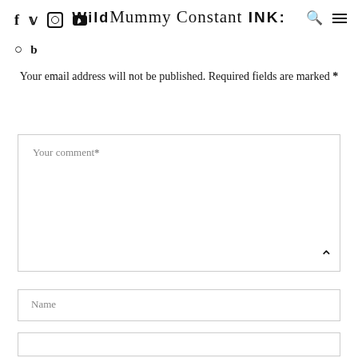Wild Mummy Constant Ink: [social icons: f, twitter, instagram, youtube, pinterest, bloglovin]
Your email address will not be published. Required fields are marked *
Your comment*
Name